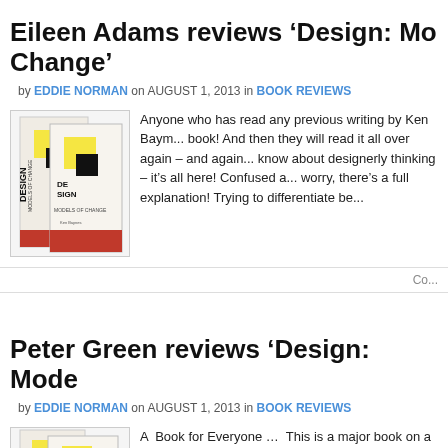Eileen Adams reviews ‘Design: Models of Change’
by EDDIE NORMAN on AUGUST 1, 2013 in BOOK REVIEWS
[Figure (photo): Two copies of the book 'Design: Models of Change' showing white cover with yellow and black geometric design and red band at bottom]
Anyone who has read any previous writing by Ken Baym... book! And then they will read it all over again – and again... know about designerly thinking – it’s all here! Confused a... worry, there’s a full explanation! Trying to differentiate be...
Co...
Peter Green reviews ‘Design: Models of Change’
by EDDIE NORMAN on AUGUST 1, 2013 in BOOK REVIEWS
[Figure (photo): Two copies of the book 'Design: Models of Change' showing white cover with yellow and black geometric design and red band at bottom]
A Book for Everyone … This is a major book on a topic... vitally important to the future of the environment. It is a so... academic who is also a practising designer. But for all its... a delight to […]